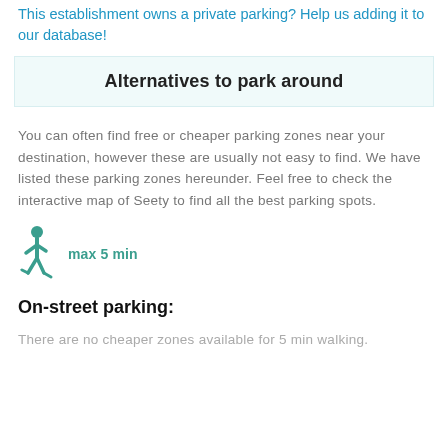This establishment owns a private parking? Help us adding it to our database!
Alternatives to park around
You can often find free or cheaper parking zones near your destination, however these are usually not easy to find. We have listed these parking zones hereunder. Feel free to check the interactive map of Seety to find all the best parking spots.
[Figure (illustration): Walking person icon in teal color with label 'max 5 min']
On-street parking:
There are no cheaper zones available for 5 min walking.